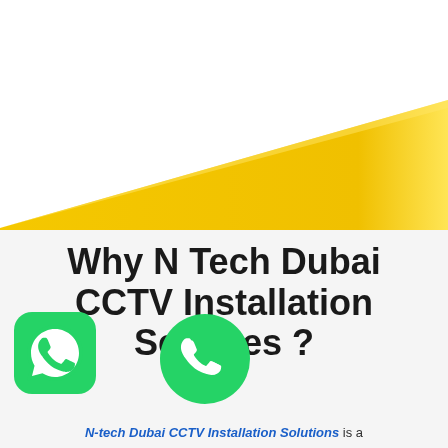[Figure (illustration): Yellow triangle shape pointing left, spanning the upper half of the page against a white background, with a gradient from bright yellow to golden yellow.]
Why N Tech Dubai CCTV Installation Services ?
[Figure (logo): Green rounded square WhatsApp icon with white handset logo, bottom left corner.]
[Figure (logo): Green circle with white telephone/phone handset icon, center bottom area.]
N-tech Dubai CCTV Installation Solutions is a